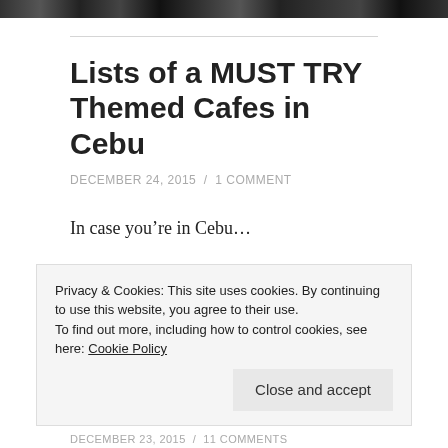[Figure (photo): Dark photo strip at the top of the page showing people, partially cropped]
Lists of a MUST TRY Themed Cafes in Cebu
DECEMBER 24, 2015 / 1 COMMENT
In case you're in Cebu…
Privacy & Cookies: This site uses cookies. By continuing to use this website, you agree to their use.
To find out more, including how to control cookies, see here: Cookie Policy
Close and accept
DECEMBER 23, 2015 / 11 COMMENTS